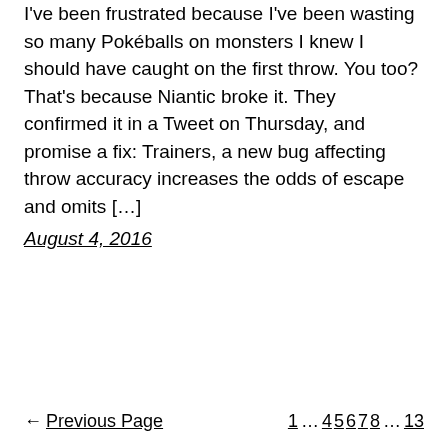I've been frustrated because I've been wasting so many Pokéballs on monsters I knew I should have caught on the first throw. You too? That's because Niantic broke it. They confirmed it in a Tweet on Thursday, and promise a fix: Trainers, a new bug affecting throw accuracy increases the odds of escape and omits […]
August 4, 2016
← Previous Page   1 … 4 5 6 7 8 … 13